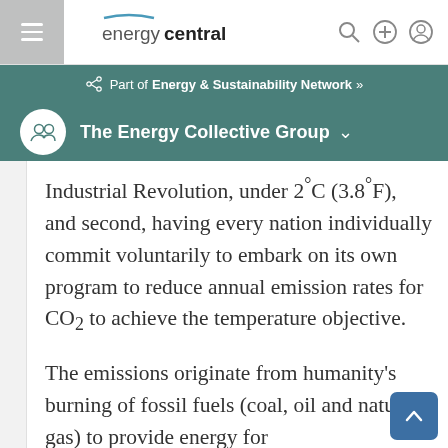energycentral.
Part of Energy & Sustainability Network »
The Energy Collective Group
Industrial Revolution, under 2°C (3.8°F), and second, having every nation individually commit voluntarily to embark on its own program to reduce annual emission rates for CO2 to achieve the temperature objective.
The emissions originate from humanity's burning of fossil fuels (coal, oil and natural gas) to provide energy for